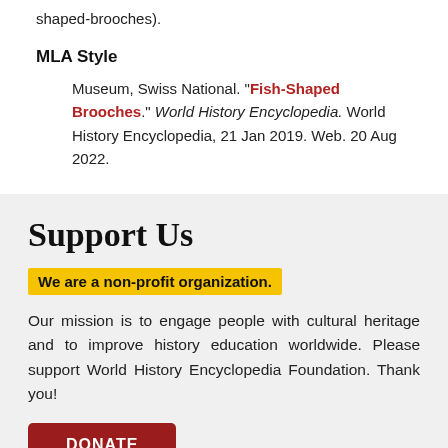shaped-brooches).
MLA Style
Museum, Swiss National. "Fish-Shaped Brooches." World History Encyclopedia. World History Encyclopedia, 21 Jan 2019. Web. 20 Aug 2022.
Support Us
We are a non-profit organization.
Our mission is to engage people with cultural heritage and to improve history education worldwide. Please support World History Encyclopedia Foundation. Thank you!
DONATE